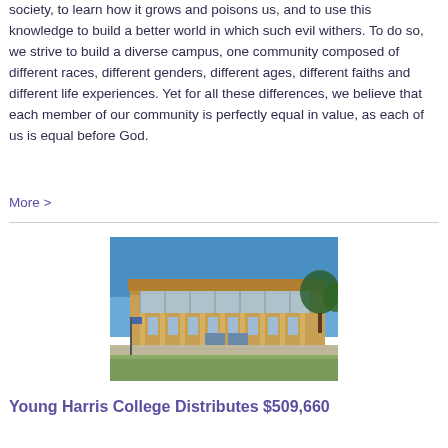society, to learn how it grows and poisons us, and to use this knowledge to build a better world in which such evil withers. To do so, we strive to build a diverse campus, one community composed of different races, different genders, different ages, different faiths and different life experiences. Yet for all these differences, we believe that each member of our community is perfectly equal in value, as each of us is equal before God.
More >
[Figure (photo): Exterior photo of a college building with large windows, columns, and a paved area in front, under a blue sky with trees visible.]
Young Harris College Distributes $509,660